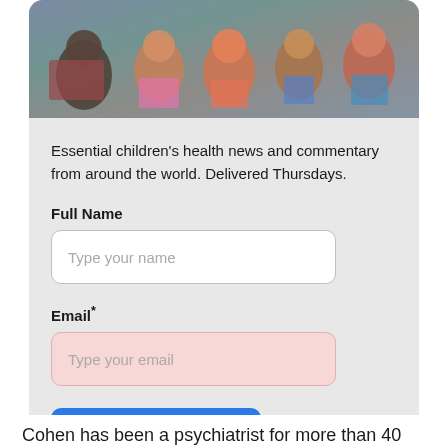[Figure (photo): Children sitting in a classroom setting, attentively listening, diverse group of young students]
Essential children's health news and commentary from around the world. Delivered Thursdays.
Full Name
Type your name
Email*
Type your email
Submit
Cohen has been a psychiatrist for more than 40